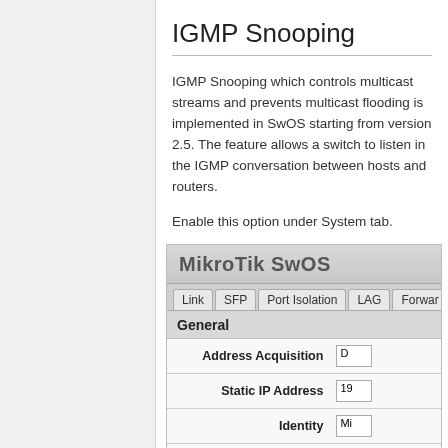IGMP Snooping
IGMP Snooping which controls multicast streams and prevents multicast flooding is implemented in SwOS starting from version 2.5. The feature allows a switch to listen in the IGMP conversation between hosts and routers.
Enable this option under System tab.
[Figure (screenshot): MikroTik SwOS web interface screenshot showing the System tab with General section. Fields visible include Address Acquisition, Static IP Address, Identity, Allow From, and Allow From Port (partially visible). Navigation tabs shown: Link, SFP, Port Isolation, LAG, Forward (partially visible).]